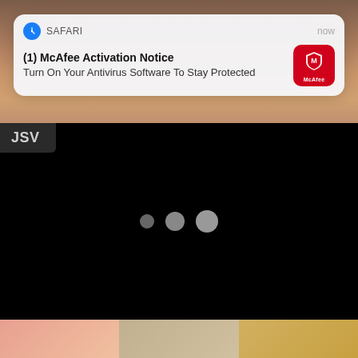[Figure (screenshot): Mobile phone screenshot showing a Safari browser push notification from McAfee saying '(1) McAfee Activation Notice - Turn On Your Antivirus Software To Stay Protected', overlaid on a photo of a person's face, followed by a black loading screen with 'JSV' label and three loading dots, and a partial photo at the bottom.]